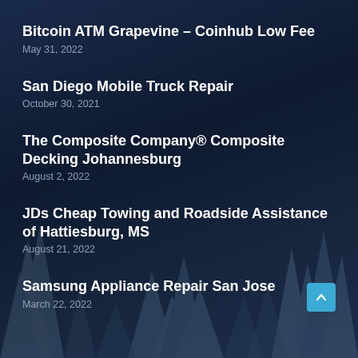Bitcoin ATM Grapevine – Coinhub Low Fee
May 31, 2022
San Diego Mobile Truck Repair
October 30, 2021
The Composite Company® Composite Decking Johannesburg
August 2, 2022
JDs Cheap Towing and Roadside Assistance of Hattiesburg, MS
August 21, 2022
Samsung Appliance Repair San Jose
March 22, 2022